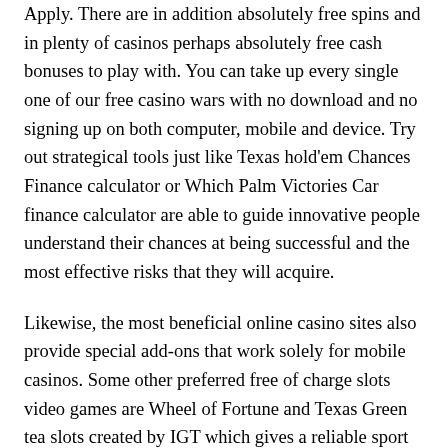Apply. There are in addition absolutely free spins and in plenty of casinos perhaps absolutely free cash bonuses to play with. You can take up every single one of our free casino wars with no download and no signing up on both computer, mobile and device. Try out strategical tools just like Texas hold'em Chances Finance calculator or Which Palm Victories Car finance calculator are able to guide innovative people understand their chances at being successful and the most effective risks that they will acquire.
Likewise, the most beneficial online casino sites also provide special add-ons that work solely for mobile casinos. Some other preferred free of charge slots video games are Wheel of Fortune and Texas Green tea slots created by IGT which gives a reliable sport with the most beneficial conditions with about 10 free of charge spins for newbies. Mobile phone slot machine games come up